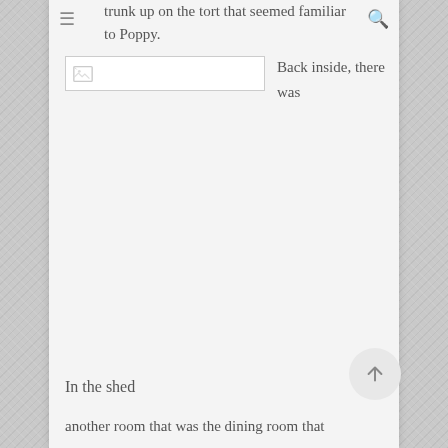trunk up on the tort that seemed familiar to Poppy.
[Figure (photo): Broken/missing image placeholder]
Back inside, there was
In the shed
another room that was the dining room that